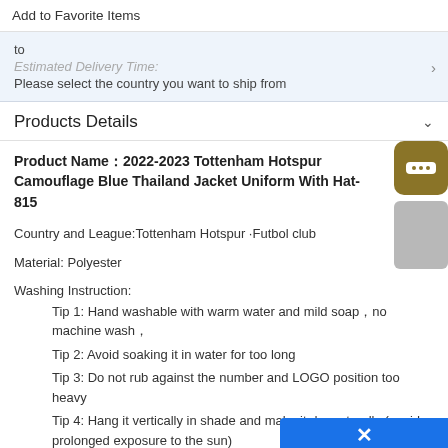Add to Favorite Items
to
Estimated Delivery Time:
Please select the country you want to ship from
Products Details
Product Name：2022-2023 Tottenham Hotspur Camouflage Blue Thailand Jacket Uniform With Hat-815
Country and League:Tottenham Hotspur ·Futbol club
Material: Polyester
Washing Instruction:
Tip 1: Hand washable with warm water and mild soap，no machine wash，
Tip 2: Avoid soaking it in water for too long
Tip 3: Do not rub against the number and LOGO position too heavy
Tip 4: Hang it vertically in shade and make it dry naturally (avoid prolonged exposure to the sun)